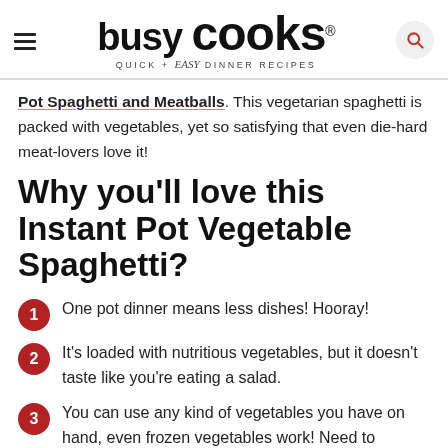busy cooks® QUICK + easy DINNER RECIPES
Pot Spaghetti and Meatballs. This vegetarian spaghetti is packed with vegetables, yet so satisfying that even die-hard meat-lovers love it!
Why you'll love this Instant Pot Vegetable Spaghetti?
One pot dinner means less dishes! Hooray!
It's loaded with nutritious vegetables, but it doesn't taste like you're eating a salad.
You can use any kind of vegetables you have on hand, even frozen vegetables work! Need to